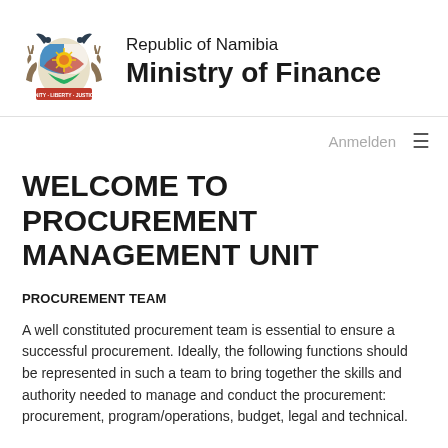[Figure (logo): Coat of Arms of the Republic of Namibia — two oryx flanking a shield with a sun emblem and blue/red/white/green segments, with eagles on top and a banner reading UNITY LIBERTY JUSTICE]
Republic of Namibia
Ministry of Finance
Anmelden  ≡
WELCOME TO PROCUREMENT MANAGEMENT UNIT
PROCUREMENT TEAM
A well constituted procurement team is essential to ensure a successful procurement. Ideally, the following functions should be represented in such a team to bring together the skills and authority needed to manage and conduct the procurement: procurement, program/operations, budget, legal and technical.